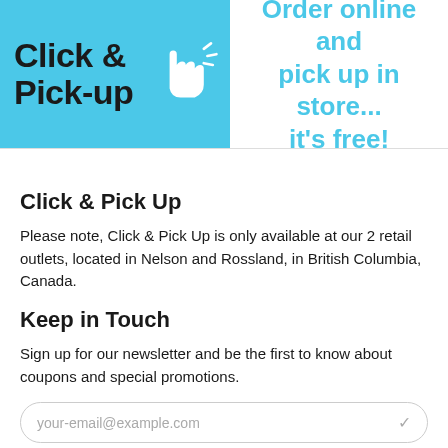[Figure (illustration): Click & Pick-up banner with teal/cyan background on left showing 'Click & Pick-up' text with a white hand pointer icon, and on right showing 'Order online and pick up in store... it's free!' in cyan text on white background]
Click & Pick Up
Please note, Click & Pick Up is only available at our 2 retail outlets, located in Nelson and Rossland, in British Columbia, Canada.
Keep in Touch
Sign up for our newsletter and be the first to know about coupons and special promotions.
your-email@example.com